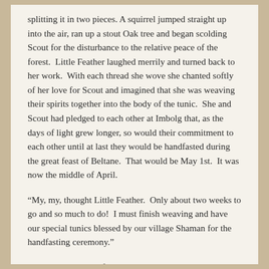splitting it in two pieces. A squirrel jumped straight up into the air, ran up a stout Oak tree and began scolding Scout for the disturbance to the relative peace of the forest.  Little Feather laughed merrily and turned back to her work.  With each thread she wove she chanted softly of her love for Scout and imagined that she was weaving their spirits together into the body of the tunic.  She and Scout had pledged to each other at Imbolg that, as the days of light grew longer, so would their commitment to each other until at last they would be handfasted during the great feast of Beltane.  That would be May 1st.  It was now the middle of April.
“My, my, thought Little Feather.  Only about two weeks to go and so much to do!  I must finish weaving and have our special tunics blessed by our village Shaman for the handfasting ceremony."
Scout's was only half completed and she hadn't even started her own.  She turned back to work with renewed determination.  Mother Shaman had given her